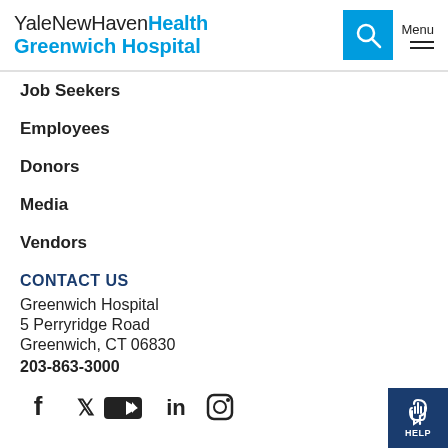YaleNewHavenHealth Greenwich Hospital | Menu
Job Seekers
Employees
Donors
Media
Vendors
CONTACT US
Greenwich Hospital
5 Perryridge Road
Greenwich, CT 06830
203-863-3000
[Figure (infographic): Social media icons: Facebook, Twitter, YouTube, LinkedIn, Instagram]